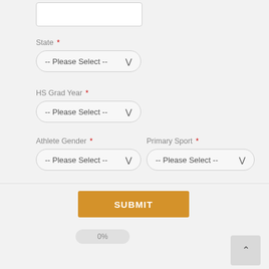[Figure (screenshot): Partial text input box at the top of the page]
State *
[Figure (screenshot): State dropdown -- Please Select --]
HS Grad Year *
[Figure (screenshot): HS Grad Year dropdown -- Please Select --]
Athlete Gender *
Primary Sport *
[Figure (screenshot): Athlete Gender dropdown -- Please Select --]
[Figure (screenshot): Primary Sport dropdown -- Please Select --]
[Figure (screenshot): SUBMIT button]
[Figure (screenshot): 0% progress indicator]
[Figure (screenshot): Scroll to top button with up arrow]